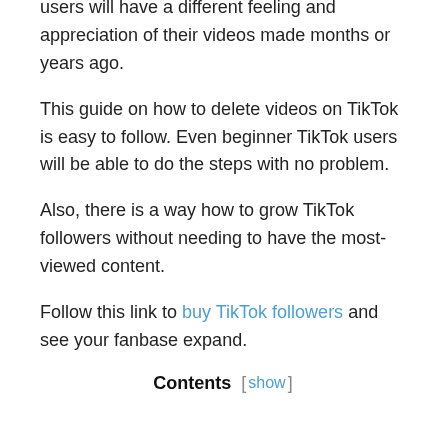users will have a different feeling and appreciation of their videos made months or years ago.
This guide on how to delete videos on TikTok is easy to follow. Even beginner TikTok users will be able to do the steps with no problem.
Also, there is a way how to grow TikTok followers without needing to have the most-viewed content.
Follow this link to buy TikTok followers and see your fanbase expand.
Contents [ show ]